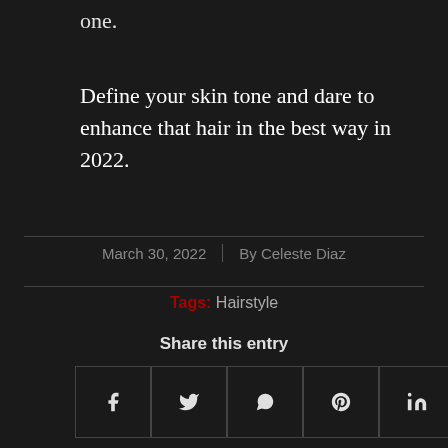one.
Define your skin tone and dare to enhance that hair in the best way in 2022.
March 30, 2022 | By Celeste Diaz
Tags: Hairstyle
Share this entry
[Figure (other): Social share icons row: Facebook (f), Twitter, WhatsApp, Pinterest, LinkedIn, Tumblr, VK, Reddit, Email]